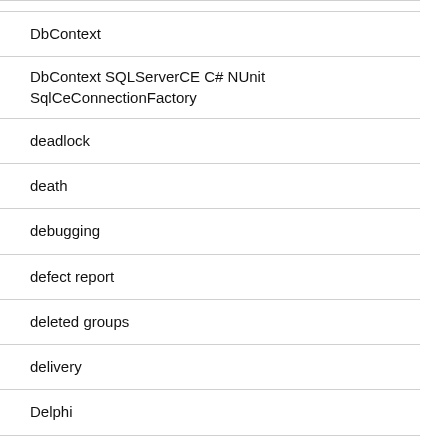DbContext
DbContext SQLServerCE C# NUnit SqlCeConnectionFactory
deadlock
death
debugging
defect report
deleted groups
delivery
Delphi
Dennard scaling